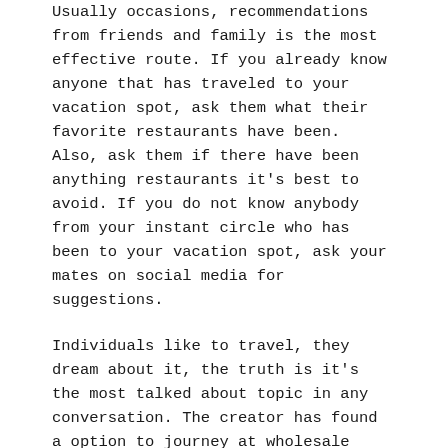Usually occasions, recommendations from friends and family is the most effective route. If you already know anyone that has traveled to your vacation spot, ask them what their favorite restaurants have been. Also, ask them if there have been anything restaurants it's best to avoid. If you do not know anybody from your instant circle who has been to your vacation spot, ask your mates on social media for suggestions.
Individuals like to travel, they dream about it, the truth is it's the most talked about topic in any conversation. The creator has found a option to journey at wholesale pricing, write the holiday and travel expense off on their taxes. And there's extra, each time they or their pals travel they get a fee check. Resorts, golf journeys, fishing, honeymoon are just some concepts. There is even firm insurance benefits that can be taken benefit of.
She has traveled extensively and is an professional within the discipline of destination spas and spa resorts and promotes personal improvement, self-awareness and discipline within the convent He